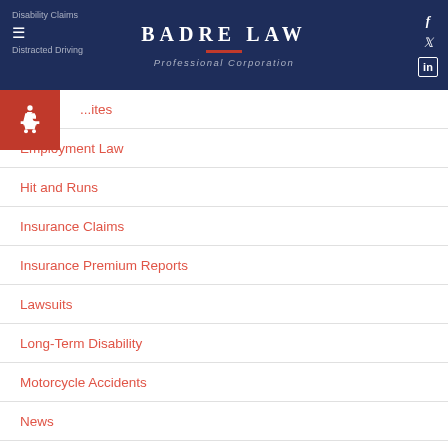BADRE LAW Professional Corporation
Disability Claims
Distracted Driving
...ites
Employment Law
Hit and Runs
Insurance Claims
Insurance Premium Reports
Lawsuits
Long-Term Disability
Motorcycle Accidents
News
Nursing Home Negligence
Other Personal Injuries
Personal Injury